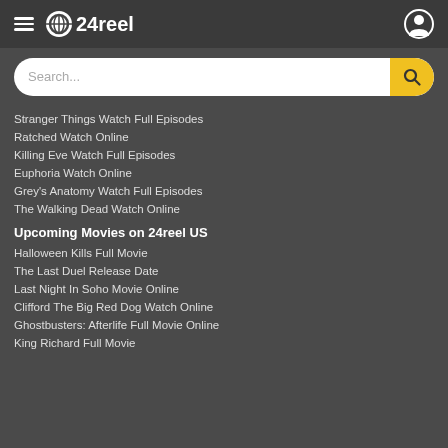24reel
Stranger Things Watch Full Episodes
Ratched Watch Online
Killing Eve Watch Full Episodes
Euphoria Watch Online
Grey's Anatomy Watch Full Episodes
The Walking Dead Watch Online
Upcoming Movies on 24reel US
Halloween Kills Full Movie
The Last Duel Release Date
Last Night In Soho Movie Online
Clifford The Big Red Dog Watch Online
Ghostbusters: Afterlife Full Movie Online
King Richard Full Movie